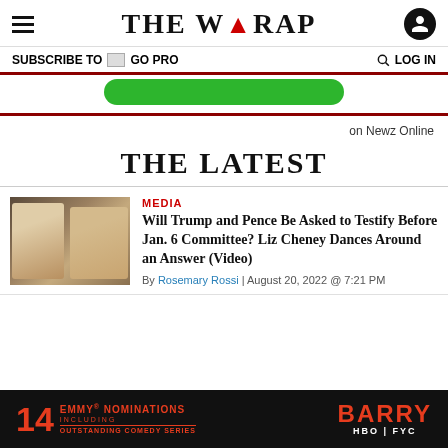THE WRAP
SUBSCRIBE TO GO PRO   LOG IN
[Figure (other): Green rounded button element]
on Newz Online
THE LATEST
[Figure (photo): Thumbnail photo showing two people (Trump and Cheney)]
MEDIA
Will Trump and Pence Be Asked to Testify Before Jan. 6 Committee? Liz Cheney Dances Around an Answer (Video)
By Rosemary Rossi | August 20, 2022 @ 7:21 PM
[Figure (other): Bottom advertisement: 14 Emmy Nominations including Outstanding Comedy Series — BARRY HBO FYC]